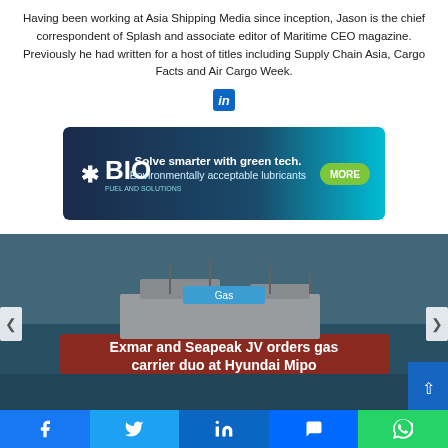Having been working at Asia Shipping Media since inception, Jason is the chief correspondent of Splash and associate editor of Maritime CEO magazine. Previously he had written for a host of titles including Supply Chain Asia, Cargo Facts and Air Cargo Week.
[Figure (logo): LinkedIn icon]
[Figure (infographic): BIO Marine Solutions ad banner: 'Solve smarter with green tech. Environmentally acceptable lubricants' with MORE button]
[Figure (photo): Gas carrier ship at sea with 'Gas' badge and article title 'Exmar and Seapeak JV orders gas carrier duo at Hyundai Mipo']
Exmar and Seapeak JV orders gas carrier duo at Hyundai Mipo